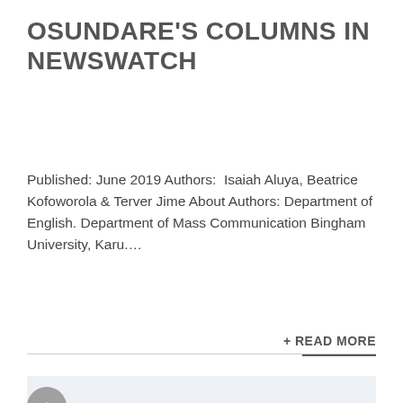OSUNDARE'S COLUMNS IN NEWSWATCH
Published: June 2019 Authors:  Isaiah Aluya, Beatrice Kofoworola & Terver Jime About Authors: Department of English. Department of Mass Communication Bingham University, Karu.…
+ READ MORE